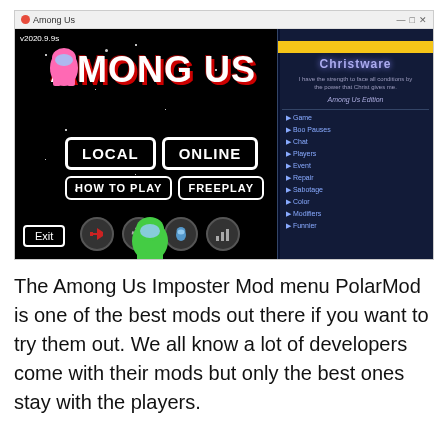[Figure (screenshot): Screenshot of Among Us game with Christware mod menu overlay showing LOCAL, ONLINE, HOW TO PLAY, FREEPLAY buttons and Exit button. Version v2020.9.9s visible. Christware panel on right side with menu items.]
The Among Us Imposter Mod menu PolarMod is one of the best mods out there if you want to try them out. We all know a lot of developers come with their mods but only the best ones stay with the players.